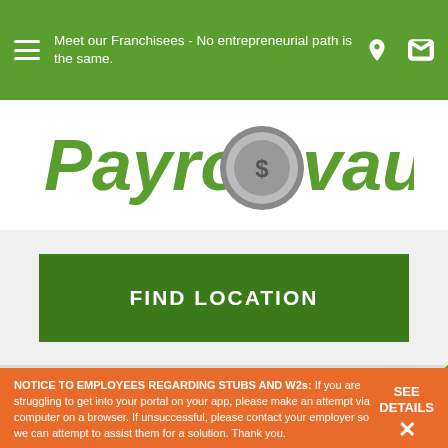Meet our Franchisees - No entrepreneurial path is the same.
[Figure (logo): Payroll Vault logo with dollar sign vault graphic]
FIND LOCATION
NOTICE TO EMPLOYEES REGARDING STUBS AND W2s: If you are struggling to get into your portal on your app, please make an attempt via computer on a browser. If unsuccessful, please contact your employer so we can attempt to assist them for a solution. Thank you.
SEE DETAILS